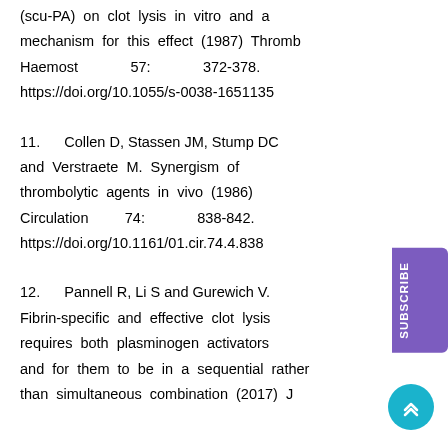(scu-PA) on clot lysis in vitro and a mechanism for this effect (1987) Thromb Haemost 57: 372-378. https://doi.org/10.1055/s-0038-1651135
11. Collen D, Stassen JM, Stump DC and Verstraete M. Synergism of thrombolytic agents in vivo (1986) Circulation 74: 838-842. https://doi.org/10.1161/01.cir.74.4.838
12. Pannell R, Li S and Gurewich V. Fibrin-specific and effective clot lysis requires both plasminogen activators and for them to be in a sequential rather than simultaneous combination (2017) J